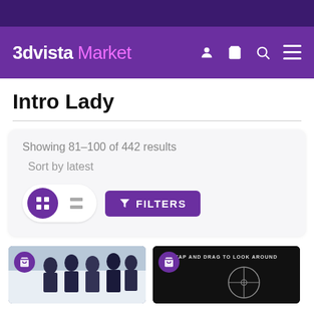3dvista Market
Intro Lady
Showing 81–100 of 442 results
Sort by latest
[Figure (screenshot): View toggle buttons (grid and list) and a purple FILTERS button]
[Figure (photo): Product card showing group of women in business attire with cart icon]
[Figure (screenshot): Product card showing dark screen with TAP AND DRAG TO LOOK AROUND text and crosshair, with cart icon]